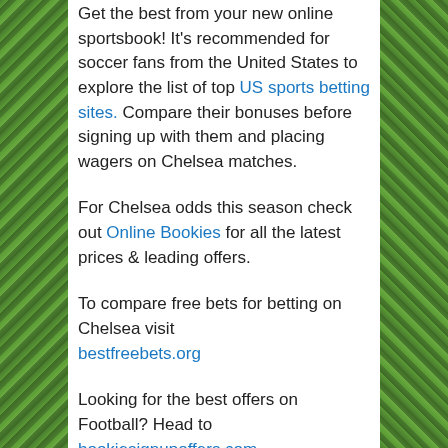Get the best from your new online sportsbook! It's recommended for soccer fans from the United States to explore the list of top US sports betting sites. Compare their bonuses before signing up with them and placing wagers on Chelsea matches.
For Chelsea odds this season check out Online Bookies for all the latest prices & leading offers.
To compare free bets for betting on Chelsea visit bestfreebets.org
Looking for the best offers on Football? Head to bookiesignupoffers.com
Looking for the best odds on Chelsea? Check out footballbettingsites.org.uk